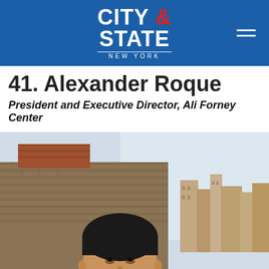CITY & STATE NEW YORK
41. Alexander Roque
President and Executive Director, Ali Forney Center
[Figure (photo): Portrait photo of Alexander Roque outdoors, with brick buildings visible in the background against a partly cloudy sky.]